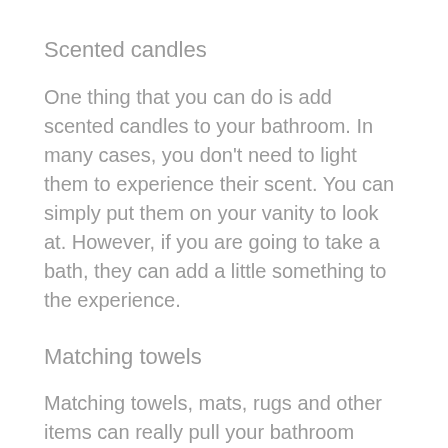Scented candles
One thing that you can do is add scented candles to your bathroom. In many cases, you don't need to light them to experience their scent. You can simply put them on your vanity to look at. However, if you are going to take a bath, they can add a little something to the experience.
Matching towels
Matching towels, mats, rugs and other items can really pull your bathroom together. When you have these items they show that you actually care about how your bathroom looks and that you want people to have an enjoyable experience when they use it.